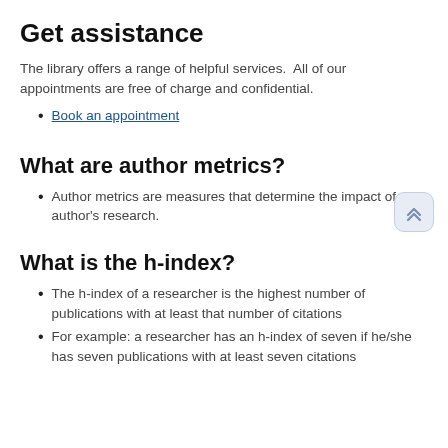Get assistance
The library offers a range of helpful services.  All of our appointments are free of charge and confidential.
Book an appointment
What are author metrics?
Author metrics are measures that determine the impact of an author's research.
What is the h-index?
The h-index of a researcher is the highest number of publications with at least that number of citations
For example: a researcher has an h-index of seven if he/she has seven publications with at least seven citations